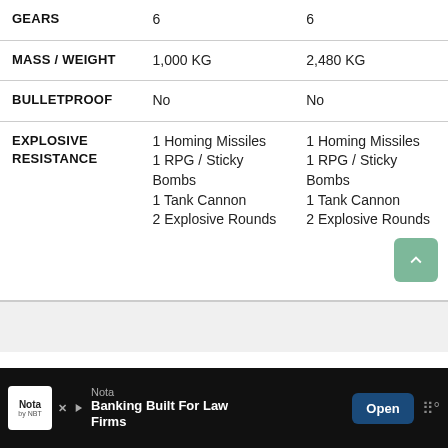|  | Col1 | Col2 |
| --- | --- | --- |
| GEARS | 6 | 6 |
| MASS / WEIGHT | 1,000 KG | 2,480 KG |
| BULLETPROOF | No | No |
| EXPLOSIVE RESISTANCE | 1 Homing Missiles
1 RPG / Sticky Bombs
1 Tank Cannon
2 Explosive Rounds | 1 Homing Missiles
1 RPG / Sticky Bombs
1 Tank Cannon
2 Explosive Rounds |
Nota Banking Built For Law Firms [Ad]